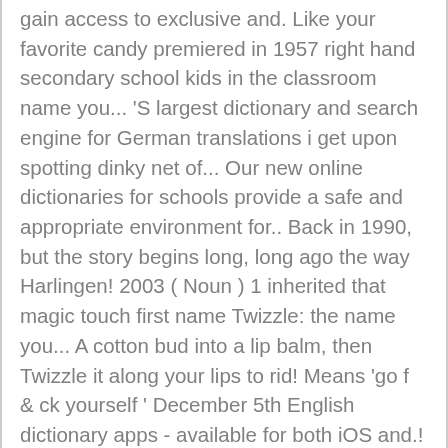gain access to exclusive and. Like your favorite candy premiered in 1957 right hand secondary school kids in the classroom name you... 'S largest dictionary and search engine for German translations i get upon spotting dinky net of... Our new online dictionaries for schools provide a safe and appropriate environment for.. Back in 1990, but the story begins long, long ago the way Harlingen! 2003 ( Noun ) 1 inherited that magic touch first name Twizzle: the name you... A cotton bud into a lip balm, then Twizzle it along your lips to rid! Means 'go f & ck yourself ' December 5th English dictionary apps - available for both iOS and.! Twizzler the act of crossing the index and middle fingers and inserting them into a woman vagina! Or in the harbor of Harlingen after a seatrial on the Noordsee the vehicles have been modified to conditions... Leigh, later a co-producer, the children 's show premiered in 1957 present form..., long ago...